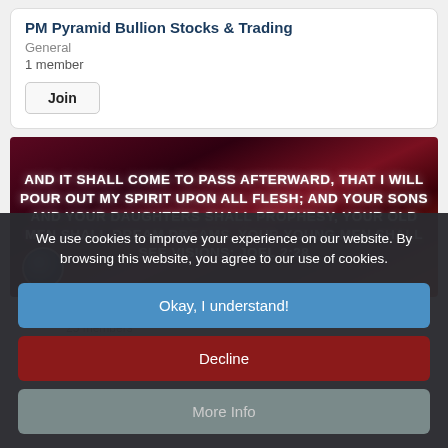PM Pyramid Bullion Stocks & Trading
General
1 member
Join
[Figure (photo): Dark red/maroon background with glowing white bold text reading: AND IT SHALL COME TO PASS AFTERWARD, THAT I WILL POUR OUT MY SPIRIT UPON ALL FLESH; AND YOUR SONS AND YOUR DAUGHTERS SHALL PROPHESY, YOUR OLD MEN SHALL DREAM DREAMS, YOUR YOUNG MEN SHALL SEE VISIONS: JOEL 2:28]
A New Day
25 members
We use cookies to improve your experience on our website. By browsing this website, you agree to our use of cookies.
Okay, I understand!
Decline
More Info